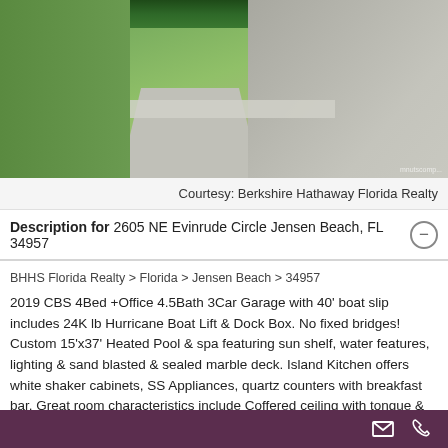[Figure (photo): Aerial/ground view of a residential property driveway with grass lawn, concrete pavers, and gravel/paver driveway area with landscaping and hedges in background.]
Courtesy: Berkshire Hathaway Florida Realty
Description for 2605 NE Evinrude Circle Jensen Beach, FL 34957
BHHS Florida Realty > Florida > Jensen Beach > 34957
2019 CBS 4Bed +Office 4.5Bath 3Car Garage with 40' boat slip includes 24K lb Hurricane Boat Lift & Dock Box. No fixed bridges! Custom 15'x37' Heated Pool & spa featuring sun shelf, water features, lighting & sand blasted & sealed marble deck. Island Kitchen offers white shaker cabinets, SS Appliances, quartz counters with breakfast bar. Great room characteristics include Coffered ceiling with tongue & grove woodwork. Crown Molding, & Shiplan decorative wall. All